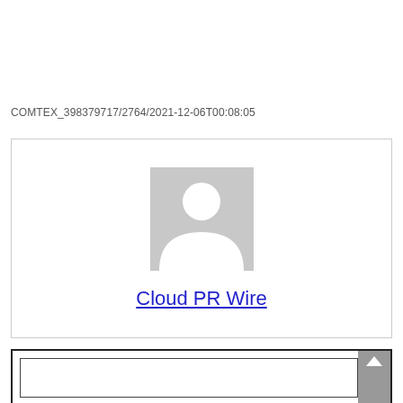COMTEX_398379717/2764/2021-12-06T00:08:05
[Figure (illustration): Profile card with a generic person silhouette avatar (gray placeholder image) and the text 'Cloud PR Wire' in blue underlined below it, inside a bordered box.]
[Figure (screenshot): Bottom portion showing a scrollable box with an inner border and a gray scrollbar with an up-arrow button on the right side.]